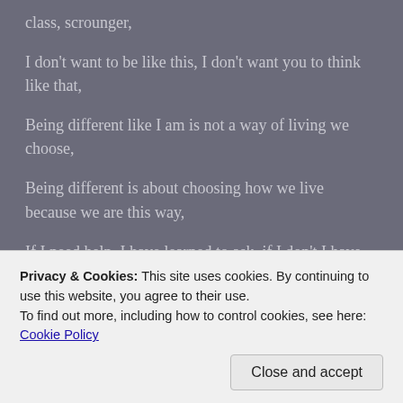class, scrounger,
I don't want to be like this, I don't want you to think like that,
Being different like I am is not a way of living we choose,
Being different is about choosing how we live because we are this way,
If I need help, I have learned to ask, if I don't I have learned to say No,
Privacy & Cookies: This site uses cookies. By continuing to use this website, you agree to their use.
To find out more, including how to control cookies, see here: Cookie Policy
We need love when we feel down, understanding when